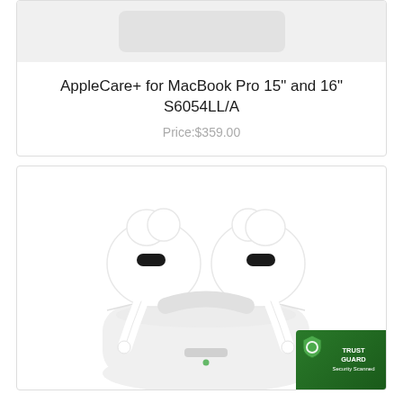[Figure (photo): Partial view of AppleCare+ product card top with gray placeholder image box]
AppleCare+ for MacBook Pro 15" and 16" S6054LL/A
Price:$359.00
[Figure (photo): Apple AirPods Pro in open white charging case, showing both earbuds with silicone tips and oval sensor openings, TrustGuard Security Scanned badge in bottom right corner]